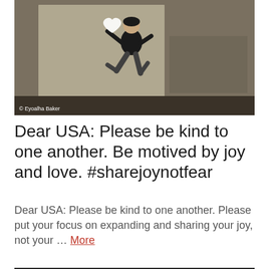[Figure (photo): A person jumping mid-air against a weathered concrete wall, holding a white heart-shaped balloon, wearing dark clothes. Photo credit: © Eyoalha Baker]
Dear USA: Please be kind to one another. Be motived by joy and love. #sharejoynotfear
Dear USA: Please be kind to one another. Please put your focus on expanding and sharing your joy, not your … More